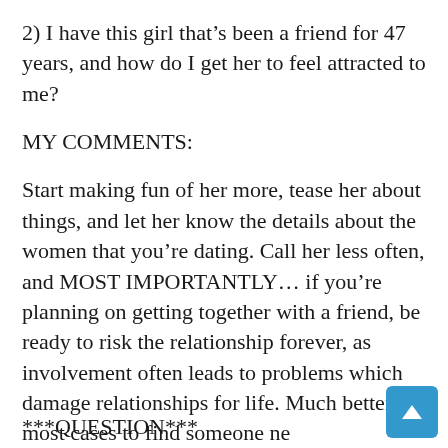2) I have this girl that’s been a friend for 47 years, and how do I get her to feel attracted to me?
MY COMMENTS:
Start making fun of her more, tease her about things, and let her know the details about the women that you’re dating. Call her less often, and MOST IMPORTANTLY… if you’re planning on getting together with a friend, be ready to risk the relationship forever, as involvement often leads to problems which damage relationships for life. Much better in most cases to find someone ne
***QUESTION***